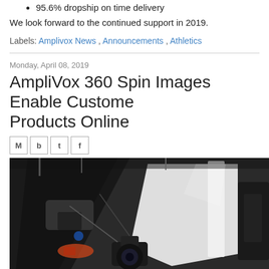95.6% dropship on time delivery
We look forward to the continued support in 2019.
Labels: Amplivox News , Announcements , Athletics
Monday, April 08, 2019
AmpliVox 360 Spin Images Enable Customers View Products Online
[Figure (photo): Behind-the-scenes photo of a 360-degree product photography studio setup with cameras, lighting equipment, and equipment on a turntable against a white backdrop.]